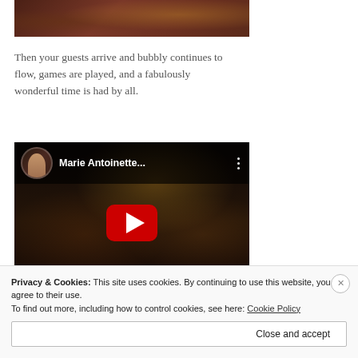[Figure (photo): Top portion of a dark-toned film scene image, appears to be from Marie Antoinette movie, showing ornate interior]
Then your guests arrive and bubbly continues to flow, games are played, and a fabulously wonderful time is had by all.
[Figure (screenshot): YouTube video thumbnail for Marie Antoinette video, showing dark baroque interior scene with play button overlay. Channel avatar shows a figure. Title reads 'Marie Antoinette...' with three-dot menu icon.]
Privacy & Cookies: This site uses cookies. By continuing to use this website, you agree to their use.
To find out more, including how to control cookies, see here: Cookie Policy
Close and accept